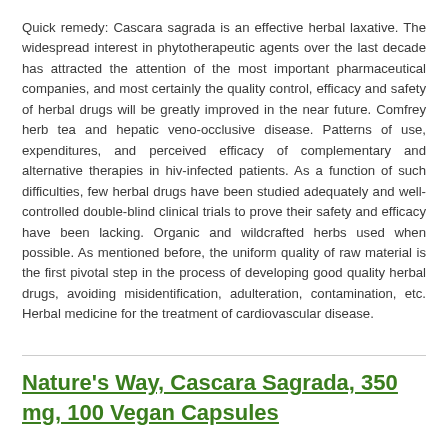Quick remedy: Cascara sagrada is an effective herbal laxative. The widespread interest in phytotherapeutic agents over the last decade has attracted the attention of the most important pharmaceutical companies, and most certainly the quality control, efficacy and safety of herbal drugs will be greatly improved in the near future. Comfrey herb tea and hepatic veno-occlusive disease. Patterns of use, expenditures, and perceived efficacy of complementary and alternative therapies in hiv-infected patients. As a function of such difficulties, few herbal drugs have been studied adequately and well-controlled double-blind clinical trials to prove their safety and efficacy have been lacking. Organic and wildcrafted herbs used when possible. As mentioned before, the uniform quality of raw material is the first pivotal step in the process of developing good quality herbal drugs, avoiding misidentification, adulteration, contamination, etc. Herbal medicine for the treatment of cardiovascular disease.
Nature's Way, Cascara Sagrada, 350 mg, 100 Vegan Capsules